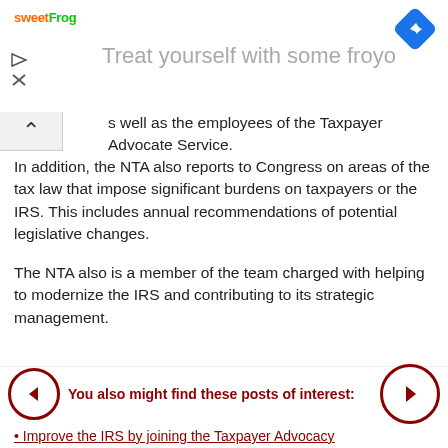[Figure (screenshot): SweetFrog frozen yogurt advertisement banner with logo, navigation icons, and tagline 'Treat yourself with some froyo']
s well as the employees of the Taxpayer Advocate Service.
In addition, the NTA also reports to Congress on areas of the tax law that impose significant burdens on taxpayers or the IRS. This includes annual recommendations of potential legislative changes.
The NTA also is a member of the team charged with helping to modernize the IRS and contributing to its strategic management.
You also might find these posts of interest:
Improve the IRS by joining the Taxpayer Advocacy